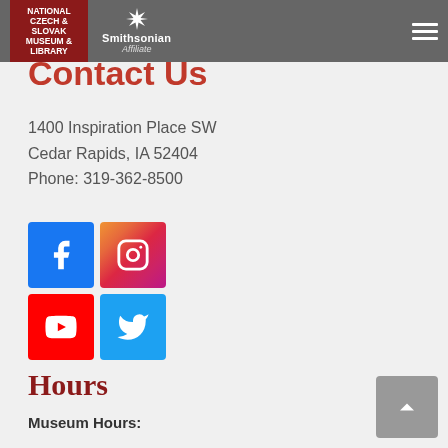National Czech & Slovak Museum & Library | Smithsonian Affiliate
Contact Us
1400 Inspiration Place SW
Cedar Rapids, IA 52404
Phone: 319-362-8500
[Figure (logo): Social media icons: Facebook, Instagram, YouTube, Twitter]
Hours
Museum Hours:
Mon-Sat, 9:30am – 4:00pm
Sunday, 12:00pm – 4:00pm
Library Hours:
Tues- Sat, 9:30am – 4:00pm